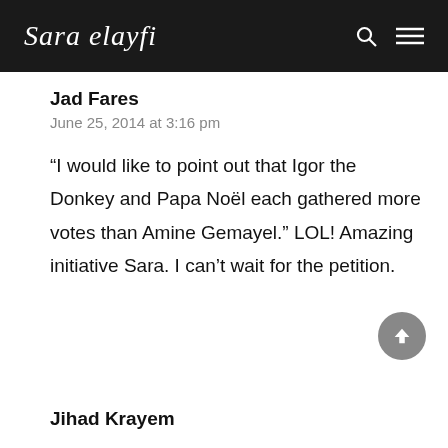Sara Elayfi
Jad Fares
June 25, 2014 at 3:16 pm
“I would like to point out that Igor the Donkey and Papa Noël each gathered more votes than Amine Gemayel.” LOL! Amazing initiative Sara. I can’t wait for the petition.
Jihad Krayem